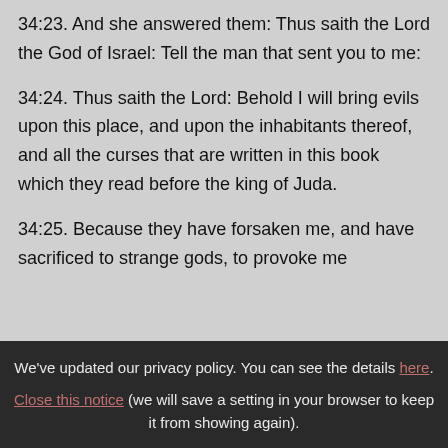34:23. And she answered them: Thus saith the Lord the God of Israel: Tell the man that sent you to me:
34:24. Thus saith the Lord: Behold I will bring evils upon this place, and upon the inhabitants thereof, and all the curses that are written in this book which they read before the king of Juda.
34:25. Because they have forsaken me, and have sacrificed to strange gods, to provoke me...
We've updated our privacy policy. You can see the details here. Close this notice (we will save a setting in your browser to keep it from showing again).